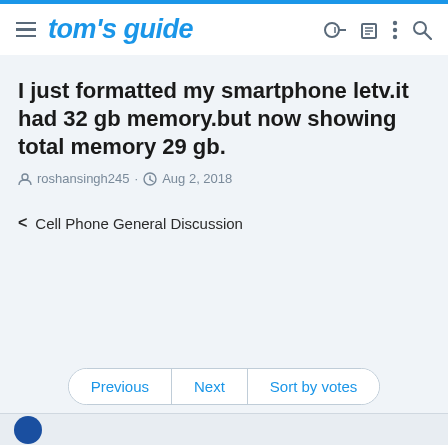tom's guide
I just formatted my smartphone letv.it had 32 gb memory.but now showing total memory 29 gb.
roshansingh245 · Aug 2, 2018
< Cell Phone General Discussion
Previous  Next  Sort by votes